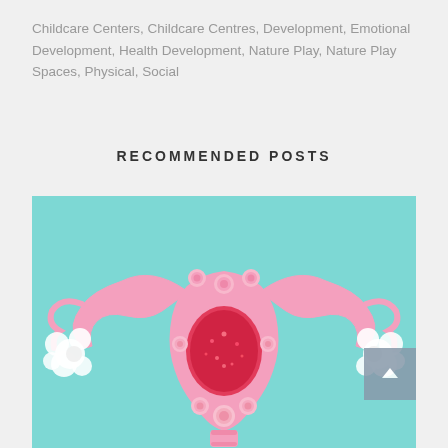Childcare Centers, Childcare Centres, Development, Emotional Development, Health Development, Nature Play, Nature Play Spaces, Physical, Social
RECOMMENDED POSTS
[Figure (photo): A decorative flat-lay illustration of a female reproductive system (uterus, fallopian tubes, ovaries) made from pink paper/craft materials, with pink roses and white round balls arranged around it, on a light teal/turquoise background. The uterus center is filled with red/pink glittery flower pieces.]